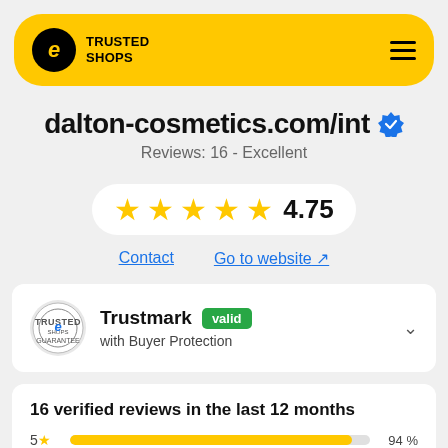[Figure (logo): Trusted Shops logo with navigation header bar in yellow]
dalton-cosmetics.com/int
Reviews: 16 - Excellent
★★★★★ 4.75
Contact   Go to website
Trustmark valid with Buyer Protection
16 verified reviews in the last 12 months
5★  94 %